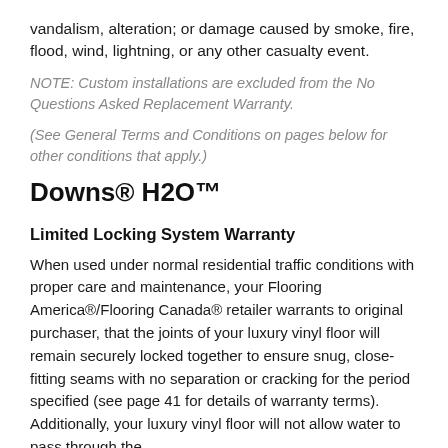vandalism, alteration; or damage caused by smoke, fire, flood, wind, lightning, or any other casualty event.
NOTE: Custom installations are excluded from the No Questions Asked Replacement Warranty.
(See General Terms and Conditions on pages below for other conditions that apply.)
Downs® H2O™
Limited Locking System Warranty
When used under normal residential traffic conditions with proper care and maintenance, your Flooring America®/Flooring Canada® retailer warrants to original purchaser, that the joints of your luxury vinyl floor will remain securely locked together to ensure snug, close-fitting seams with no separation or cracking for the period specified (see page 41 for details of warranty terms). Additionally, your luxury vinyl floor will not allow water to pass through the